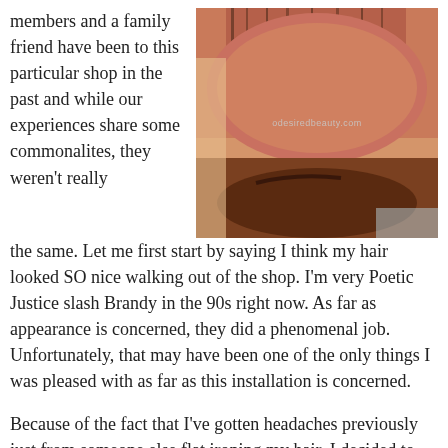members and a family friend have been to this particular shop in the past and while our experiences share some commonalites, they weren't really the same. Let me first start by saying I think my hair looked SO nice walking out of the shop. I'm very Poetic Justice slash Brandy in the 90s right now. As far as appearance is concerned, they did a phenomenal job. Unfortunately, that may have been one of the only things I was pleased with as far as this installation is concerned.
[Figure (photo): Close-up photo of a person's forehead and hairline showing thinning or braiding-related hair damage. Watermark reads odesiredbeauty.com]
Because of the fact that I've gotten headaches previously just from someone else flat ironing my hair, I decided to take a few ibuprofen before they got started. That might be why I didn't realize exactly how tight they were braiding during the process.